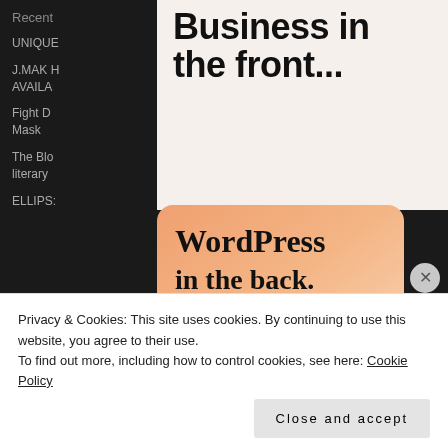Business in the front...
Recent
UNIQUE
J.MAK H AVAILA
Fight D Dry Eye Mask
The Blo n London's literary
ELLIPS:
[Figure (illustration): WordPress advertisement card with orange gradient background and decorative rounded pillar shapes. Text reads: WordPress in the back.]
Recent
Privacy & Cookies: This site uses cookies. By continuing to use this website, you agree to their use.
To find out more, including how to control cookies, see here: Cookie Policy
Close and accept